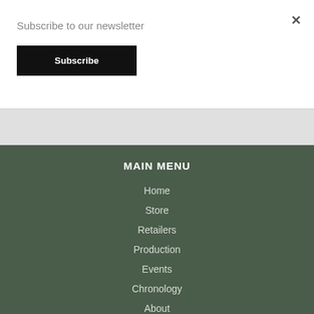Subscribe to our newsletter
Subscribe
MAIN MENU
Home
Store
Retailers
Production
Events
Chronology
About